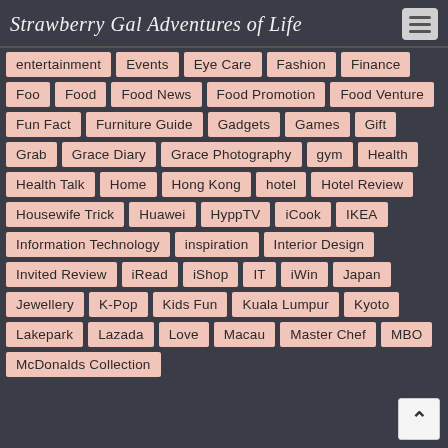Strawberry Gal Adventures of Life
entertainment
Events
Eye Care
Fashion
Finance
Foo
Food
Food News
Food Promotion
Food Venture
Fun Fact
Furniture Guide
Gadgets
Games
Gift
Grab
Grace Diary
Grace Photography
gym
Health
Health Talk
Home
Hong Kong
hotel
Hotel Review
Housewife Trick
Huawei
HyppTV
iCook
IKEA
Information Technology
inspiration
Interior Design
Invited Review
iRead
iShop
IT
iWin
Japan
Jewellery
K-Pop
Kids Fun
Kuala Lumpur
Kyoto
Lakepark
Lazada
Love
Macau
Master Chef
MBO
McDonalds Collection